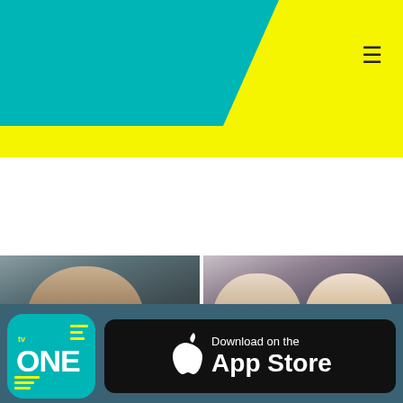[Figure (screenshot): TV One website header with teal diagonal and yellow background, hamburger menu icon]
[Figure (logo): TV ONE app logo - teal rounded square with ONE text and yellow lines]
[Figure (screenshot): Download on the App Store button - black with Apple logo]
[Figure (photo): Young man's face - article about Donald Trump's son]
The Truth About Donald Trump's Son Is Out Now & We're Surprised
[Figure (photo): Two women smiling - article about Ellen DeGeneres and Anne Heche]
Ellen DeGeneres' Emotional Response To Ex Anne Heche's Death
[Figure (screenshot): NewsOne advertisement - REAL TALK DRIVES REAL CHANGE, Fully charged by Chevrolet]